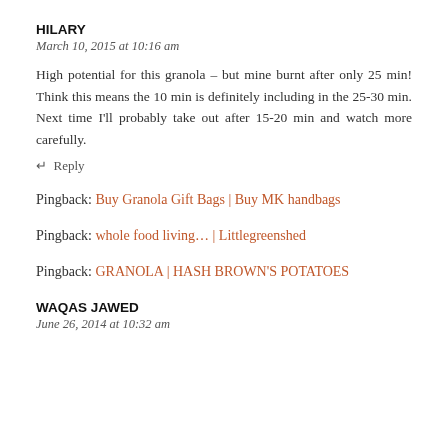HILARY
March 10, 2015 at 10:16 am
High potential for this granola – but mine burnt after only 25 min! Think this means the 10 min is definitely including in the 25-30 min. Next time I'll probably take out after 15-20 min and watch more carefully.
↵ Reply
Pingback: Buy Granola Gift Bags | Buy MK handbags
Pingback: whole food living… | Littlegreenshed
Pingback: GRANOLA | HASH BROWN'S POTATOES
WAQAS JAWED
June 26, 2014 at 10:32 am